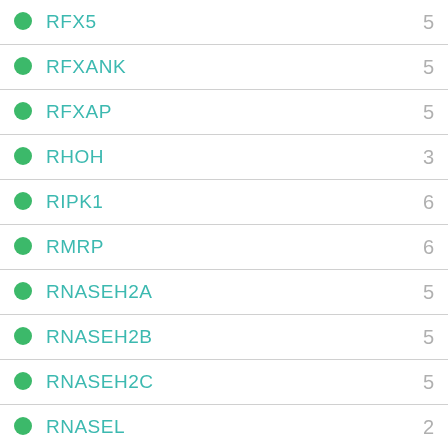| Gene | Value |
| --- | --- |
| RFX5 | 5 |
| RFXANK | 5 |
| RFXAP | 5 |
| RHOH | 3 |
| RIPK1 | 6 |
| RMRP | 6 |
| RNASEH2A | 5 |
| RNASEH2B | 5 |
| RNASEH2C | 5 |
| RNASEL | 2 |